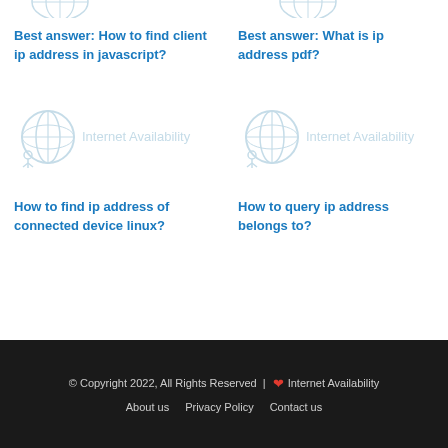Best answer: How to find client ip address in javascript?
[Figure (logo): Internet Availability logo with globe icon (top, partially cropped, left column)]
Best answer: What is ip address pdf?
[Figure (logo): Internet Availability logo with globe icon (top, partially cropped, right column)]
[Figure (logo): Internet Availability logo with globe icon - left middle card]
How to find ip address of connected device linux?
[Figure (logo): Internet Availability logo with globe icon - right middle card]
How to query ip address belongs to?
© Copyright 2022, All Rights Reserved | ❤ Internet Availability  About us  Privacy Policy  Contact us